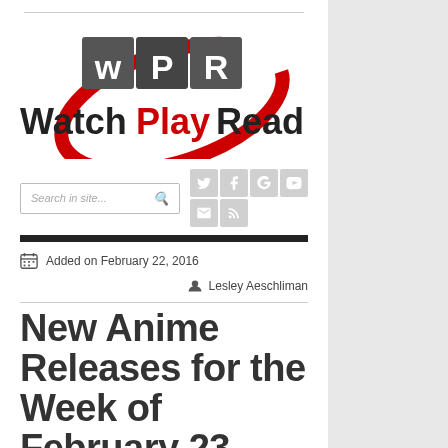[Figure (logo): WatchPlayRead logo with WPR monogram graphic and red swoosh, text reads Watch in black, Play in red, Read in black]
Search in site...
Added on February 22, 2016
Lesley Aeschliman
New Anime Releases for the Week of February 23, 2016